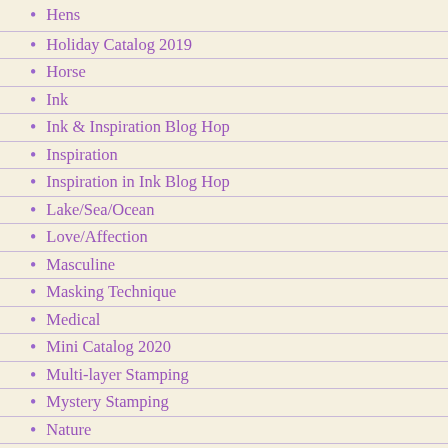Hens
Holiday Catalog 2019
Horse
Ink
Ink & Inspiration Blog Hop
Inspiration
Inspiration in Ink Blog Hop
Lake/Sea/Ocean
Love/Affection
Masculine
Masking Technique
Medical
Mini Catalog 2020
Multi-layer Stamping
Mystery Stamping
Nature
New Year
Occasions Catalog 2019
Ornaments